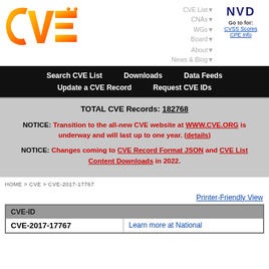[Figure (logo): CVE orange gradient logo on white background]
CVE List▼ CNAs▼ WGs▼ Board▼ About▼ News & Blog▼
[Figure (logo): NVD logo in dark blue, bold lettering]
Go to for: CVSS Scores CPE Info
Search CVE List   Downloads   Data Feeds   Update a CVE Record   Request CVE IDs
TOTAL CVE Records: 182768

NOTICE: Transition to the all-new CVE website at WWW.CVE.ORG is underway and will last up to one year. (details)

NOTICE: Changes coming to CVE Record Format JSON and CVE List Content Downloads in 2022.
HOME > CVE > CVE-2017-17767
Printer-Friendly View
| CVE-ID |  |
| --- | --- |
| CVE-2017-17767 | Learn more at National |